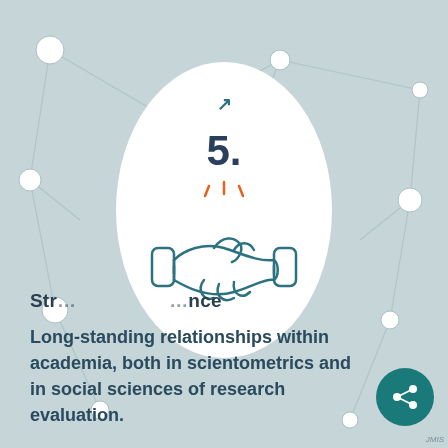[Figure (illustration): Network/molecule background with connected nodes and lines on light blue-grey background, with a white oval containing number 5, an upward arrow, orange spark marks, and a teal handshake icon]
Str... ...nce
Long-standing relationships within academia, both in scientometrics and in social sciences of research evaluation.